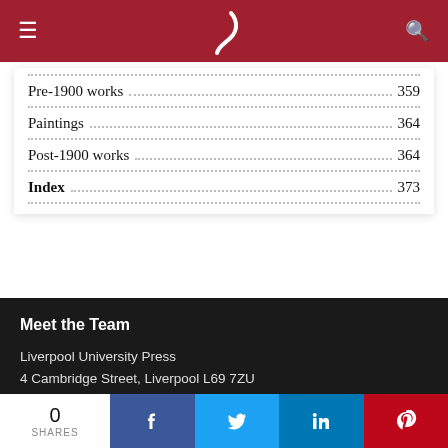≡ ) 🔍
Pre-1900 works ..... 359
Paintings ..... 364
Post-1900 works ..... 364
Index ..... 373
Meet the Team
Liverpool University Press
4 Cambridge Street, Liverpool L69 7ZU
United Kingdom
[Figure (infographic): Social media icons: Twitter (blue), Facebook (dark blue), Instagram (slate blue), LinkedIn (teal), RSS (orange)]
Quick Navigation
0 SHARES | Facebook | Twitter | LinkedIn | Pinterest